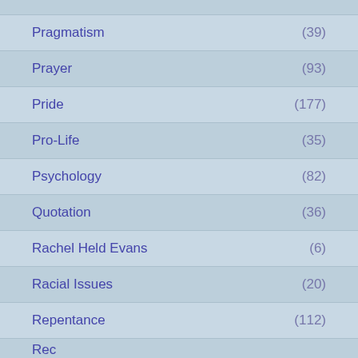Pragmatism (39)
Prayer (93)
Pride (177)
Pro-Life (35)
Psychology (82)
Quotation (36)
Rachel Held Evans (6)
Racial Issues (20)
Repentance (112)
Reconciliation (?)